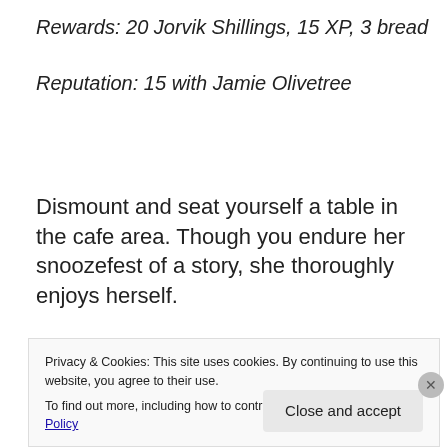Rewards: 20 Jorvik Shillings, 15 XP, 3 bread
Reputation: 15 with Jamie Olivetree
Dismount and seat yourself a table in the cafe area. Though you endure her snoozefest of a story, she thoroughly enjoys herself.
[Figure (photo): Partial photo of a person, cropped, with a blue circular frame, visible at the top of the cookie banner area.]
Privacy & Cookies: This site uses cookies. By continuing to use this website, you agree to their use.
To find out more, including how to control cookies, see here: Cookie Policy